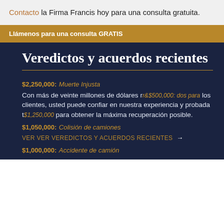Contacto la Firma Francis hoy para una consulta gratuita.
Llámenos para una consulta GRATIS
Veredictos y acuerdos recientes
$2,250,000: Muerte Injusta
Con más de veinte millones de dólares recuperados para los clientes, usted puede confiar en nuestra experiencia y probada trayectoria para obtener la máxima recuperación posible.
$1,250,000
$1,050,000: Colisión de camiones
VER VER VEREDICTOS Y ACUERDOS RECIENTES →
$1,000,000: Accidente de camión